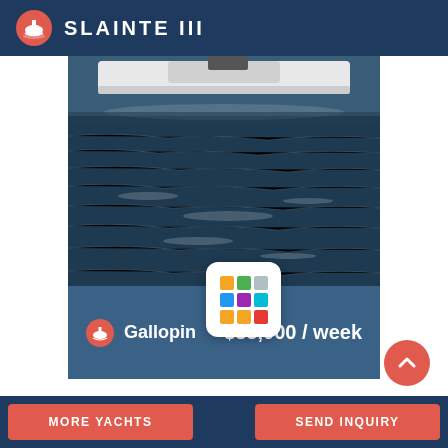SLAINTE III
[Figure (photo): Aerial or side view of a white yacht on dark reflective water]
Gallopin
[Figure (logo): Colorful grid app icon with colored squares arranged in 3x3 pattern]
$38,000 / week
MORE YACHTS   SEND INQUIRY